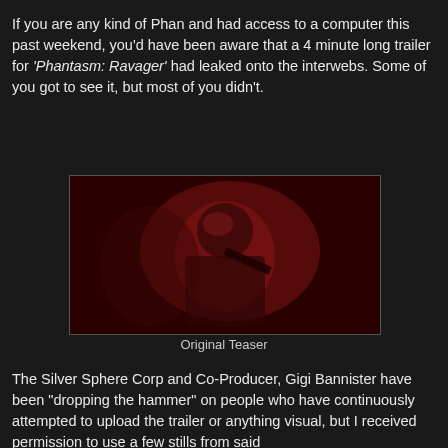If you are any kind of Phan and had access to a computer this past weekend, you'd have been aware that a 4 minute long trailer for 'Phantasm: Ravager' had leaked onto the interwebs. Some of you got to see it, but most of you didn't.
[Figure (photo): A dark red-tinted photograph of a man (the Tall Man character from Phantasm) holding what appears to be a weapon or device close to his face, with dramatic red lighting]
Original Teaser
The Silver Sphere Corp and Co-Producer, Gigi Bannister have been "dropping the hammer" on people who have continuously attempted to upload the trailer or anything visual, but I received permission to use a few stills from said